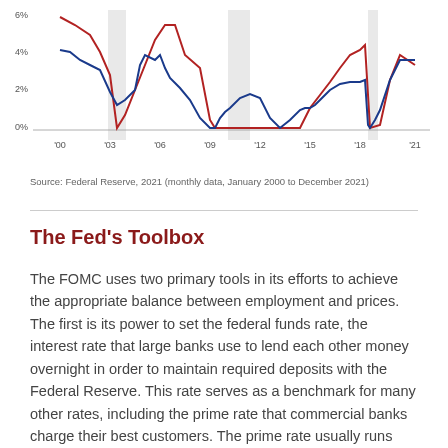[Figure (line-chart): Federal Funds Rate and Inflation]
Source: Federal Reserve, 2021 (monthly data, January 2000 to December 2021)
The Fed’s Toolbox
The FOMC uses two primary tools in its efforts to achieve the appropriate balance between employment and prices. The first is its power to set the federal funds rate, the interest rate that large banks use to lend each other money overnight in order to maintain required deposits with the Federal Reserve. This rate serves as a benchmark for many other rates, including the prime rate that commercial banks charge their best customers. The prime rate usually runs about 3% above the federal funds rate